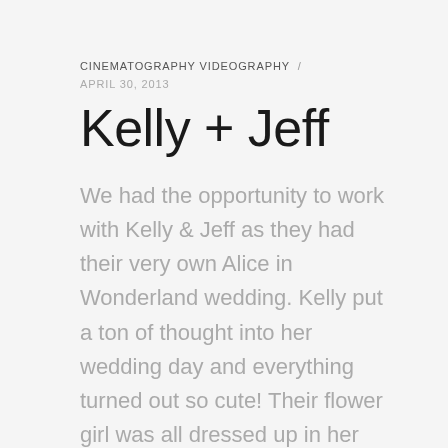CINEMATOGRAPHY VIDEOGRAPHY / APRIL 30, 2013
Kelly + Jeff
We had the opportunity to work with Kelly & Jeff as they had their very own Alice in Wonderland wedding. Kelly put a ton of thought into her wedding day and everything turned out so cute! Their flower girl was all dressed up in her blue dress like Alice